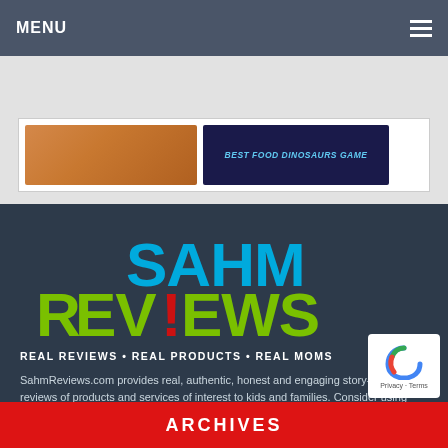MENU
[Figure (screenshot): Two thumbnail images side by side in a white card: a food/orange item on the left and a dark blue banner with italic text on the right]
[Figure (logo): SAHM Reviews logo - colorful text with SAHM in blue, Reviews in green/red, with an exclamation mark]
REAL REVIEWS • REAL PRODUCTS • REAL MOMS
SahmReviews.com provides real, authentic, honest and engaging story-based reviews of products and services of interest to kids and families. Consider using SahmReviews.com to get the message out about your company!
ARCHIVES